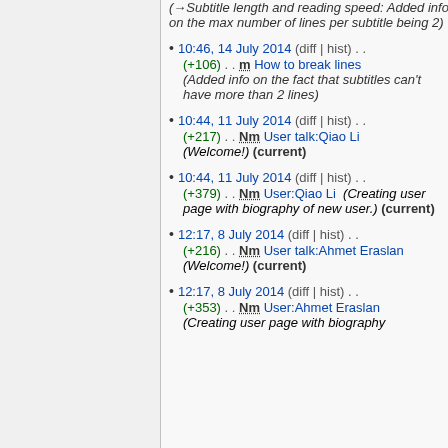(→Subtitle length and reading speed: Added info on the max number of lines per subtitle being 2)
10:46, 14 July 2014 (diff | hist) . . (+106) . . m How to break lines (Added info on the fact that subtitles can't have more than 2 lines)
10:44, 11 July 2014 (diff | hist) . . (+217) . . Nm User talk:Qiao Li (Welcome!) (current)
10:44, 11 July 2014 (diff | hist) . . (+379) . . Nm User:Qiao Li (Creating user page with biography of new user.) (current)
12:17, 8 July 2014 (diff | hist) . . (+216) . . Nm User talk:Ahmet Eraslan (Welcome!) (current)
12:17, 8 July 2014 (diff | hist) . . (+353) . . Nm User:Ahmet Eraslan (Creating user page with biography